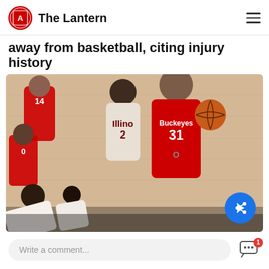The Lantern
away from basketball, citing injury history
[Figure (photo): Ohio State Buckeyes basketball player #31 in red uniform dribbling the ball past an Illinois #2 defender on a basketball court, with other players visible in the background and foreground.]
Write a comment...